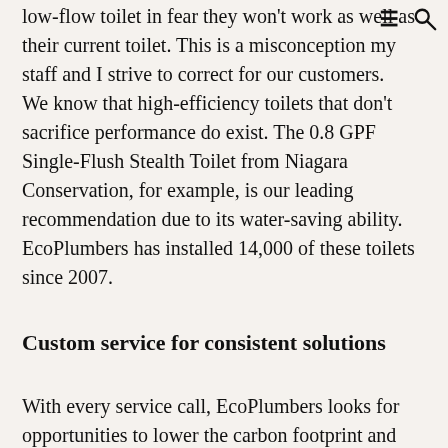low-flow toilet in fear they won't work as well as their current toilet. This is a misconception my staff and I strive to correct for our customers.
We know that high-efficiency toilets that don't sacrifice performance do exist. The 0.8 GPF Single-Flush Stealth Toilet from Niagara Conservation, for example, is our leading recommendation due to its water-saving ability. EcoPlumbers has installed 14,000 of these toilets since 2007.
Custom service for consistent solutions
With every service call, EcoPlumbers looks for opportunities to lower the carbon footprint and utility costs while also providing customizable offerings for our clients. We work with our customers to meet their needs and exceed their expectations through custom